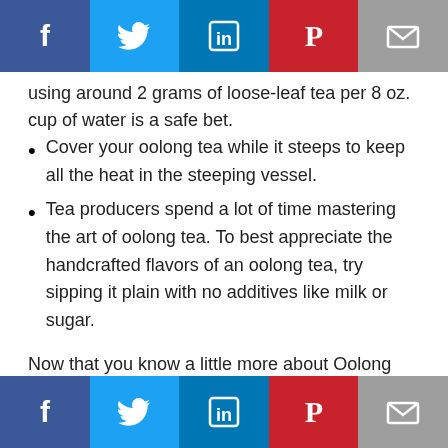[Figure (other): Top social media sharing bar with Facebook, Twitter, LinkedIn, Pinterest, and Email buttons]
using around 2 grams of loose-leaf tea per 8 oz. cup of water is a safe bet.
Cover your oolong tea while it steeps to keep all the heat in the steeping vessel.
Tea producers spend a lot of time mastering the art of oolong tea. To best appreciate the handcrafted flavors of an oolong tea, try sipping it plain with no additives like milk or sugar.
Now that you know a little more about Oolong tea, grab a box from Blue Tea Box and try our delicious speciality teas!
Information obtained from Wikipedia
[Figure (other): Bottom social media sharing bar with Facebook, Twitter, LinkedIn, Pinterest, and Email buttons]